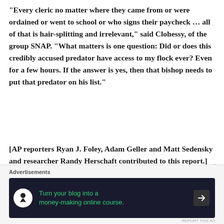“Every cleric no matter where they came from or were ordained or went to school or who signs their paycheck … all of that is hair-splitting and irrelevant,” said Clohessy, of the group SNAP. “What matters is one question: Did or does this credibly accused predator have access to my flock ever? Even for a few hours. If the answer is yes, then that bishop needs to put that predator on his list.”
[AP reporters Ryan J. Foley, Adam Geller and Matt Sedensky and researcher Randy Herschaft contributed to this report.]
Advertisements
[Figure (other): Advertisement banner with dark background showing 'Turn your blog into a money-making online course.' with a person/tree icon and arrow button.]